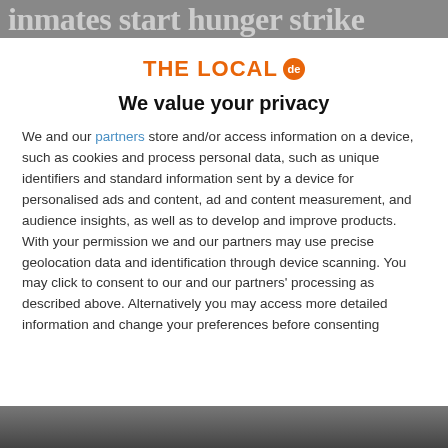inmates start hunger strike
[Figure (logo): THE LOCAL .de logo with orange text and orange circular badge]
We value your privacy
We and our partners store and/or access information on a device, such as cookies and process personal data, such as unique identifiers and standard information sent by a device for personalised ads and content, ad and content measurement, and audience insights, as well as to develop and improve products. With your permission we and our partners may use precise geolocation data and identification through device scanning. You may click to consent to our and our partners' processing as described above. Alternatively you may access more detailed information and change your preferences before consenting
ACCEPT
MORE OPTIONS
[Figure (photo): Partial photo visible at the bottom of the page]